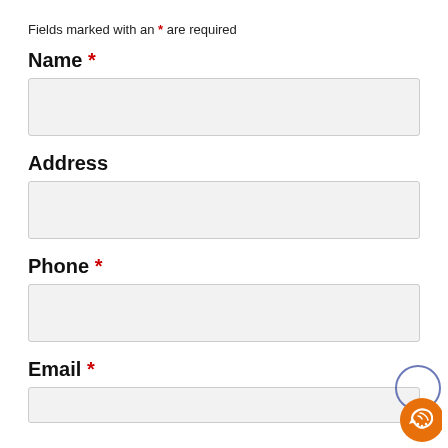Fields marked with an * are required
Name *
[Figure (other): Empty text input field for Name]
Address
[Figure (other): Empty text input field for Address]
Phone *
[Figure (other): Empty text input field for Phone]
Email *
[Figure (other): Empty text input field for Email]
[Figure (other): WhatsApp chat button icon in orange circle with partially visible blue circle above]